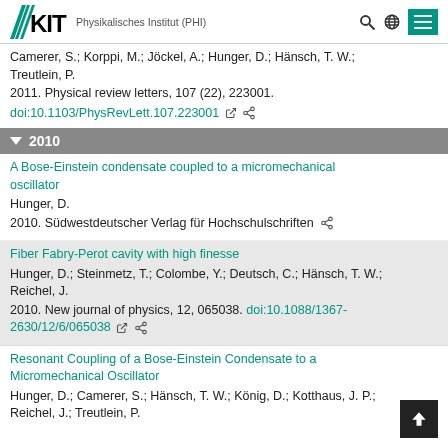KIT — Physikalisches Institut (PHI)
Camerer, S.; Korppi, M.; Jöckel, A.; Hunger, D.; Hänsch, T. W.; Treutlein, P.
2011. Physical review letters, 107 (22), 223001.
doi:10.1103/PhysRevLett.107.223001
2010
A Bose-Einstein condensate coupled to a micromechanical oscillator
Hunger, D.
2010. Südwestdeutscher Verlag für Hochschulschriften
Fiber Fabry-Perot cavity with high finesse
Hunger, D.; Steinmetz, T.; Colombe, Y.; Deutsch, C.; Hänsch, T. W.; Reichel, J.
2010. New journal of physics, 12, 065038. doi:10.1088/1367-2630/12/6/065038
Resonant Coupling of a Bose-Einstein Condensate to a Micromechanical Oscillator
Hunger, D.; Camerer, S.; Hänsch, T. W.; König, D.; Kotthaus, J. P.; Reichel, J.; Treutlein, P.